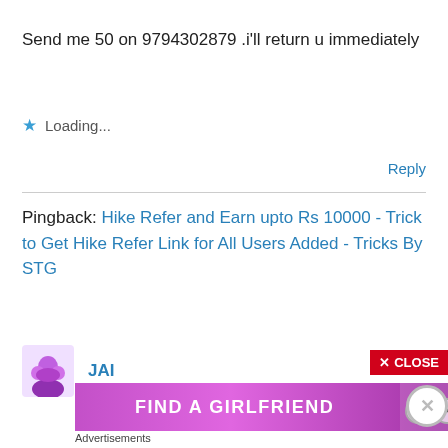Send me 50 on 9794302879 .i'll return u immediately
Loading...
Reply
Pingback: Hike Refer and Earn upto Rs 10000 - Trick to Get Hike Refer Link for All Users Added - Tricks By STG
JAI
[Figure (screenshot): Advertisement banner showing FIND A GIRLFRIEND with close button]
Advertisements
[Figure (screenshot): Beauty/makeup advertisement strip with ULTA and SHOP NOW]